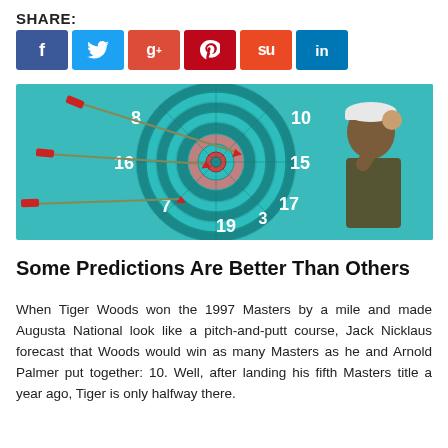SHARE:
[Figure (infographic): Social sharing buttons: Facebook (dark blue), Twitter (light blue), Google+ (red-orange), Pinterest (dark red), StumbleUpon (orange-red), LinkedIn (blue)]
[Figure (photo): A dartboard with several red darts thrown at it, and a golfer (Tiger Woods) reaching up on the right side of the image, set against a teal background.]
Some Predictions Are Better Than Others
When Tiger Woods won the 1997 Masters by a mile and made Augusta National look like a pitch-and-putt course, Jack Nicklaus forecast that Woods would win as many Masters as he and Arnold Palmer put together: 10. Well, after landing his fifth Masters title a year ago, Tiger is only halfway there.